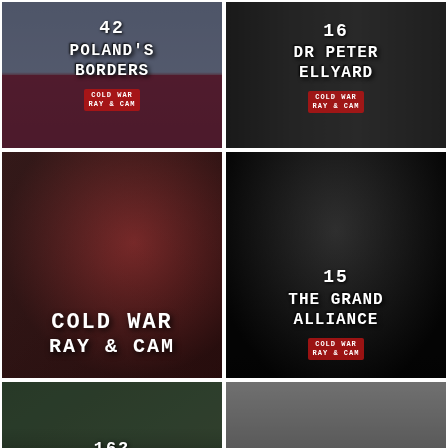[Figure (screenshot): Thumbnail for episode 42: Poland's Borders. Dark blue/flag background with white/red text overlay. Shows 'Cold War Ray & Cam' branding.]
[Figure (screenshot): Thumbnail for episode 16: Dr Peter Ellyard. Dark background with man gesturing. Shows 'Cold War Ray & Cam' branding.]
[Figure (screenshot): Thumbnail showing 'Cold War Ray & Cam' large logo text on reddish dark background with figures.]
[Figure (screenshot): Thumbnail for episode 15: The Grand Alliance. Black and white photo of historical figures including Churchill. Shows 'Cold War Ray & Cam' branding.]
[Figure (screenshot): Thumbnail for episode 162: Sexy Nazi Werewolf Bikini Babes from Hell. Green/dark background with woman in military cap.]
[Figure (screenshot): Thumbnail for episode 44: The Bombing of Dresden. Black and white image of bombed ruins.]